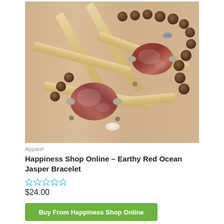[Figure (photo): A beaded bracelet featuring large earthy red ocean jasper stones, brown wooden beads, bamboo tube beads, and silver accents, displayed on a light wooden surface.]
Apparel
Happiness Shop Online – Earthy Red Ocean Jasper Bracelet
★★★★★ (empty stars rating)
$24.00
Buy From Happiness Shop Online